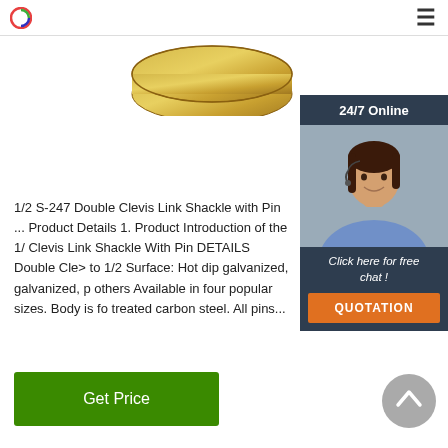Logo and navigation hamburger menu
[Figure (photo): Partial product photo showing a gold/brass metal ring or shackle component, cropped at top]
[Figure (photo): 24/7 Online chat widget with photo of woman wearing headset, Click here for free chat!, and QUOTATION button]
1/2 S-247 Double Clevis Link Shackle with Pin ... Product Details 1. Product Introduction of the 1/ Clevis Link Shackle With Pin DETAILS Double Cle> to 1/2 Surface: Hot dip galvanized, galvanized, p others Available in four popular sizes. Body is fo treated carbon steel. All pins...
Get Price
[Figure (other): Scroll to top circular grey button with upward arrow chevron]